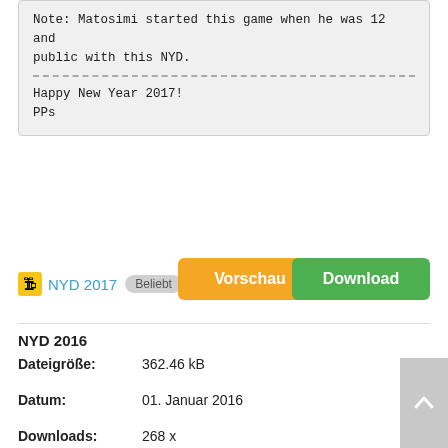Note: Matosimi started this game when he was 12 and public with this NYD.
---------------------------------------------------
Happy New Year 2017!
PPs
NYD 2017  Beliebt
Vorschau
Download
NYD 2016
Dateigröße: 362.46 kB
Datum: 01. Januar 2016
Downloads: 268 x
[Figure (screenshot): Black background image with 'Happy New Year!' text in white and colorful fireworks graphic]